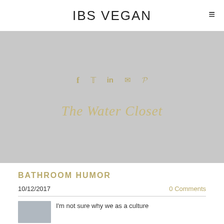IBS VEGAN
[Figure (other): Gray hero banner with social share icons (f, Twitter bird, in, envelope, P) in gold/tan color, and italic text 'The Water Closet' below them on gray background]
BATHROOM HUMOR
10/12/2017
0 Comments
I'm not sure why we as a culture